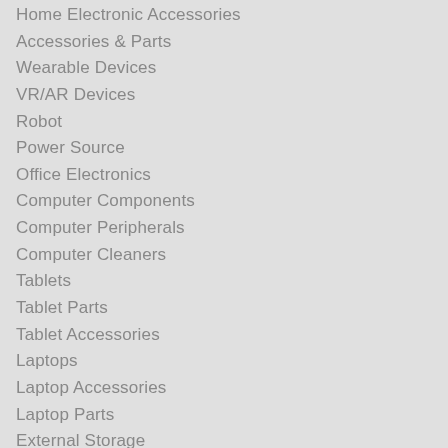Home Electronic Accessories
Accessories & Parts
Wearable Devices
VR/AR Devices
Robot
Power Source
Office Electronics
Computer Components
Computer Peripherals
Computer Cleaners
Tablets
Tablet Parts
Tablet Accessories
Laptops
Laptop Accessories
Laptop Parts
External Storage
Internal Storage
Networking
Cables & Connectors
Mini PC
Desktops & Servers
DIY Gaming PC